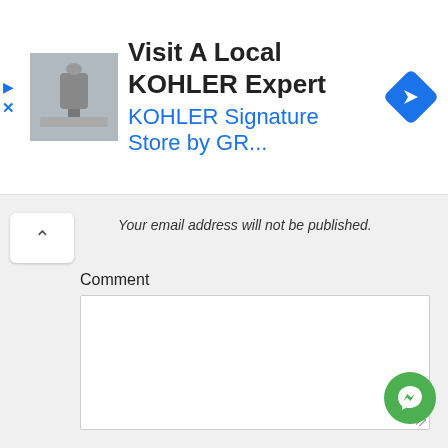[Figure (screenshot): Advertisement banner for KOHLER: thumbnail image of bathroom fixture on left, bold text 'Visit A Local KOHLER Expert' and blue subtitle 'KOHLER Signature Store by GR...' in center, blue diamond navigation icon on right. Play and close (X) controls on far left.]
Your email address will not be published.
Comment
Name *
Email *
Website